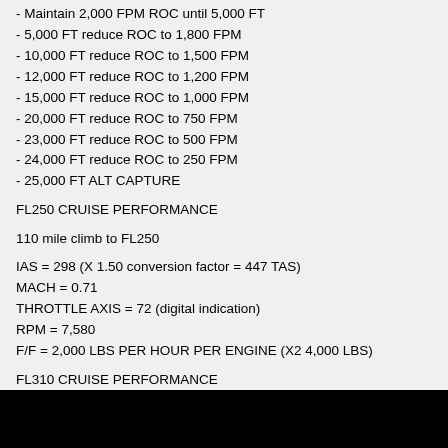- Maintain 2,000 FPM ROC until 5,000 FT
- 5,000 FT reduce ROC to 1,800 FPM
- 10,000 FT reduce ROC to 1,500 FPM
- 12,000 FT reduce ROC to 1,200 FPM
- 15,000 FT reduce ROC to 1,000 FPM
- 20,000 FT reduce ROC to 750 FPM
- 23,000 FT reduce ROC to 500 FPM
- 24,000 FT reduce ROC to 250 FPM
- 25,000 FT ALT CAPTURE
FL250 CRUISE PERFORMANCE
110 mile climb to FL250
IAS = 298 (X 1.50 conversion factor = 447 TAS)
MACH = 0.71
THROTTLE AXIS = 72 (digital indication)
RPM = 7,580
F/F = 2,000 LBS PER HOUR PER ENGINE (X2 4,000 LBS)
FL310 CRUISE PERFORMANCE
Climb to FL310 requires 500 FPM ROC beyond FL250 and exceeds 180 miles